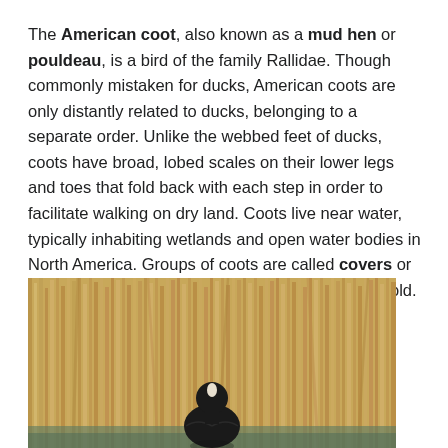The American coot, also known as a mud hen or pouldeau, is a bird of the family Rallidae. Though commonly mistaken for ducks, American coots are only distantly related to ducks, belonging to a separate order. Unlike the webbed feet of ducks, coots have broad, lobed scales on their lower legs and toes that fold back with each step in order to facilitate walking on dry land. Coots live near water, typically inhabiting wetlands and open water bodies in North America. Groups of coots are called covers or rafts. The oldest known coot lived to be 22 years old. Source: Wikipedia
[Figure (photo): Photo of an American coot bird seen from behind, surrounded by dry reed/cattail stalks in a wetland environment. The bird has dark black plumage and is partially in water.]